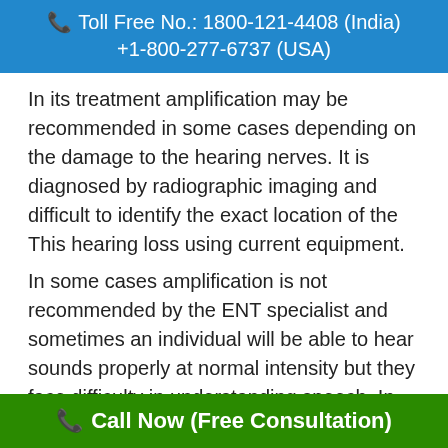📞 Toll Free No.: 1800-121-4408 (India)
+1-800-277-6737 (USA)
In its treatment amplification may be recommended in some cases depending on the damage to the hearing nerves. It is diagnosed by radiographic imaging and difficult to identify the exact location of the This hearing loss using current equipment.
In some cases amplification is not recommended by the ENT specialist and sometimes an individual will be able to hear sounds properly at normal intensity but they face difficulty in understanding speech. In these making sounds louder with hearing aids does not improve speech understanding. Any individual with neural hearing loss is faced with more trouble in the
📞 Call Now (Free Consultation)